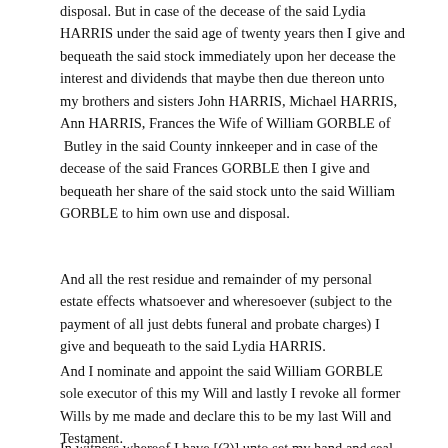disposal. But in case of the decease of the said Lydia HARRIS under the said age of twenty years then I give and bequeath the said stock immediately upon her decease the interest and dividends that maybe then due thereon unto my brothers and sisters John HARRIS, Michael HARRIS, Ann HARRIS, Frances the Wife of William GORBLE of  Butley in the said County innkeeper and in case of the decease of the said Frances GORBLE then I give and bequeath her share of the said stock unto the said William GORBLE to him own use and disposal.
And all the rest residue and remainder of my personal estate effects whatsoever and wheresoever (subject to the payment of all just debts funeral and probate charges) I give and bequeath to the said Lydia HARRIS.
And I nominate and appoint the said William GORBLE sole executor of this my Will and lastly I revoke all former Wills by me made and declare this to be my last Will and Testament.
In witness whereof I have [(?)] unto set my hand and seal